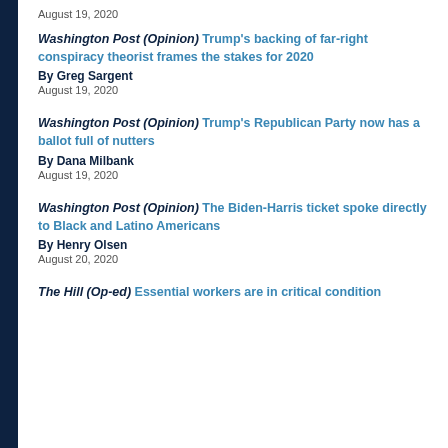August 19, 2020
Washington Post (Opinion) Trump's backing of far-right conspiracy theorist frames the stakes for 2020
By Greg Sargent
August 19, 2020
Washington Post (Opinion) Trump's Republican Party now has a ballot full of nutters
By Dana Milbank
August 19, 2020
Washington Post (Opinion) The Biden-Harris ticket spoke directly to Black and Latino Americans
By Henry Olsen
August 20, 2020
The Hill (Op-ed) Essential workers are in critical condition